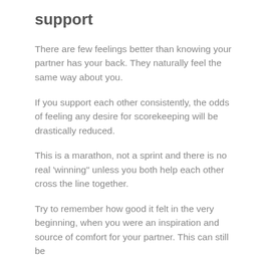support
There are few feelings better than knowing your partner has your back. They naturally feel the same way about you.
If you support each other consistently, the odds of feeling any desire for scorekeeping will be drastically reduced.
This is a marathon, not a sprint and there is no real 'winning" unless you both help each other cross the line together.
Try to remember how good it felt in the very beginning, when you were an inspiration and source of comfort for your partner. This can still be